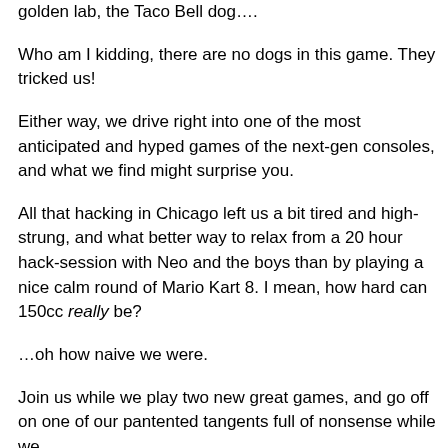golden lab, the Taco Bell dog….
Who am I kidding, there are no dogs in this game. They tricked us!
Either way, we drive right into one of the most anticipated and hyped games of the next-gen consoles, and what we find might surprise you.
All that hacking in Chicago left us a bit tired and high-strung, and what better way to relax from a 20 hour hack-session with Neo and the boys than by playing a nice calm round of Mario Kart 8. I mean, how hard can 150cc really be?
…oh how naive we were.
Join us while we play two new great games, and go off on one of our pantented tangents full of nonsense while we